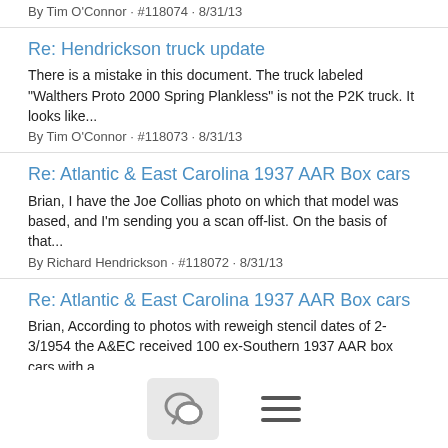By Tim O'Connor · #118074 · 8/31/13
Re: Hendrickson truck update
There is a mistake in this document. The truck labeled "Walthers Proto 2000 Spring Plankless" is not the P2K truck. It looks like...
By Tim O'Connor · #118073 · 8/31/13
Re: Atlantic & East Carolina 1937 AAR Box cars
Brian, I have the Joe Collias photo on which that model was based, and I'm sending you a scan off-list. On the basis of that...
By Richard Hendrickson · #118072 · 8/31/13
Re: Atlantic & East Carolina 1937 AAR Box cars
Brian, According to photos with reweigh stencil dates of 2-3/1954 the A&EC received 100 ex-Southern 1937 AAR box cars with a...
By Ed Hawkins · #118071 · 8/31/13
Re: PRR X29 boxcar patches...
Don, You are wrong in your supposition. Following up on what Ben has said, the car (definitely an X25) in the photos is clearly